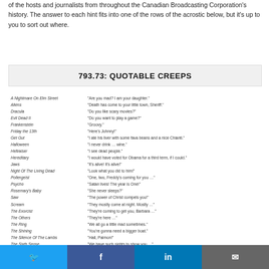of the hosts and journalists from throughout the Canadian Broadcasting Corporation's history. The answer to each hint fits into one of the rows of the acrostic below, but it's up to you to sort out where.
793.73: QUOTABLE CREEPS
| Film | Quote |
| --- | --- |
| A Nightmare On Elm Street | "Are you mad? I am your daughter." |
| Aliens | "Death has come to your little town, Sheriff." |
| Dracula | "Do you like scary movies?" |
| Evil Dead II | "Do you want to play a game?" |
| Frankenstein | "Groovy." |
| Friday the 13th | "Here's Johnny!" |
| Get Out | "I ate his liver with some fava beans and a nice Chianti." |
| Halloween | "I never drink … wine." |
| Hellraiser | "I see dead people." |
| Hereditary | "I would have voted for Obama for a third term, if I could." |
| Jaws | "It's alive! It's alive!" |
| Night Of The Living Dead | "Look what you did to him!" |
| Poltergeist | "One, two, Freddy's coming for you …" |
| Psycho | "Satan lives! The year is One!" |
| Rosemary's Baby | "She never sleeps?" |
| Saw | "The power of Christ compels you!" |
| Scream | "They mostly come at night. Mostly …" |
| The Exorcist | "They're coming to get you, Barbara …" |
| The Others | "They're here …" |
| The Ring | "We all go a little mad sometimes." |
| The Shining | "You're gonna need a bigger boat." |
| The Silence Of The Lambs | "Hail, Paimon!" |
| The Sixth Sense | "We have such sights to show you …" |